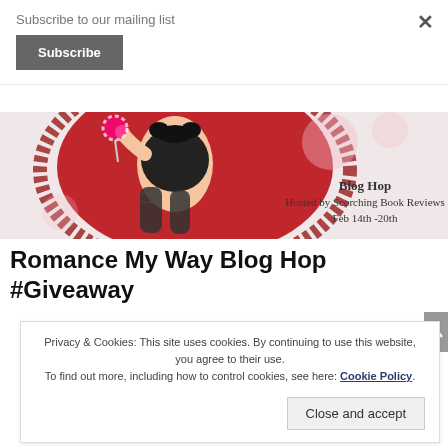Subscribe to our mailing list
Subscribe
[Figure (illustration): Blog hop banner with animated pinup character on red background. Text reads: Blog Hop Hosted by Scorching Book Reviews Feb 14th -20th]
Romance My Way Blog Hop #Giveaway
Privacy & Cookies: This site uses cookies. By continuing to use this website, you agree to their use. To find out more, including how to control cookies, see here: Cookie Policy
Close and accept